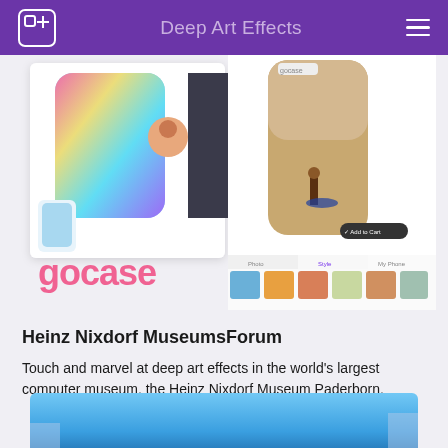Deep Art Effects
[Figure (screenshot): Screenshot of Gocase phone case customization interface with Deep Art Effects integration, showing colorful phone cases and a surfer photo phone case design]
Heinz Nixdorf MuseumsForum
Touch and marvel at deep art effects in the world's largest computer museum, the Heinz Nixdorf Museum Paderborn.
[Figure (photo): Partial photo of the Heinz Nixdorf Museum Paderborn building exterior, showing blue sky]